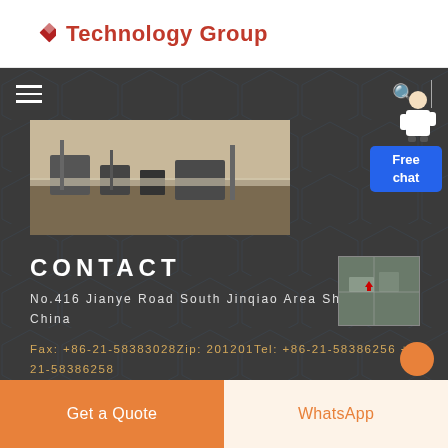Technology Group
[Figure (screenshot): Construction site photograph showing excavation work with machinery]
CONTACT
No.416 Jianye Road South Jinqiao Area Shanghai, China
Fax: +86-21-58383028Zip: 201201Tel: +86-21-58386256 +86-21-58386258
[Figure (other): Free chat button with customer service representative figure]
Get a Quote
WhatsApp